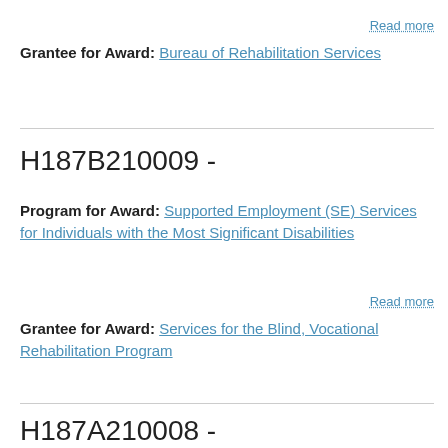Read more
Grantee for Award: Bureau of Rehabilitation Services
H187B210009 -
Program for Award: Supported Employment (SE) Services for Individuals with the Most Significant Disabilities
Read more
Grantee for Award: Services for the Blind, Vocational Rehabilitation Program
H187A210008 -